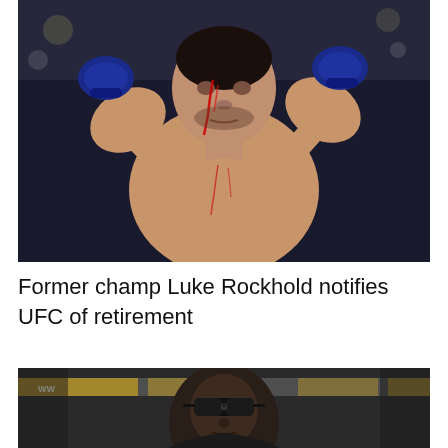[Figure (photo): A male MMA fighter with blood on his face, hands clasped behind his head, wearing blue MMA gloves, shirtless, in a dark arena setting. This is Luke Rockhold after a UFC fight.]
Former champ Luke Rockhold notifies UFC of retirement
[Figure (photo): A male athlete wearing dark sunglasses at what appears to be a UFC press conference or weigh-in, with blurred UFC branding in the background.]